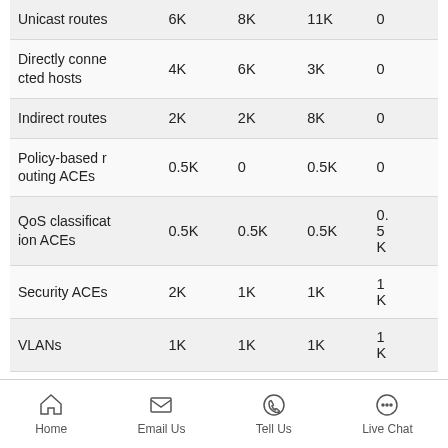| Unicast routes | 6K | 8K | 11K | 0 |
| Directly connected hosts | 4K | 6K | 3K | 0 |
| Indirect routes | 2K | 2K | 8K | 0 |
| Policy-based routing ACEs | 0.5K | 0 | 0.5K | 0 |
| QoS classification ACEs | 0.5K | 0.5K | 0.5K | 0.5K |
| Security ACEs | 2K | 1K | 1K | 1K |
| VLANs | 1K | 1K | 1K | 1K |
Home   Email Us   Tell Us   Live Chat